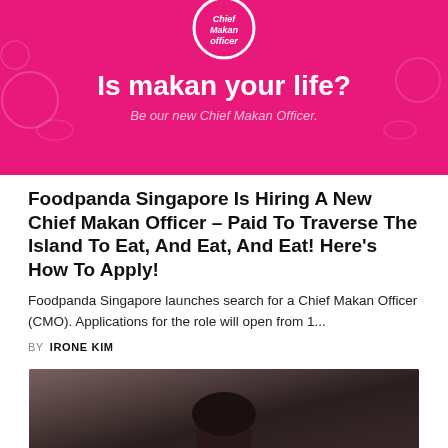[Figure (illustration): Foodpanda Singapore Chief Makan Officer promotional banner with pink background, circular badge at top saying 'officer', large white text 'Is makan your life?' and italic subtitle 'Be our new Chief Makan Officer.']
Foodpanda Singapore Is Hiring A New Chief Makan Officer – Paid To Traverse The Island To Eat, And Eat, And Eat! Here's How To Apply!
Foodpanda Singapore launches search for a Chief Makan Officer (CMO). Applications for the role will open from 1...
BY  IRONE KIM
[Figure (photo): A partial photo showing the top of a person's head, dark toned image, bottom of the page]